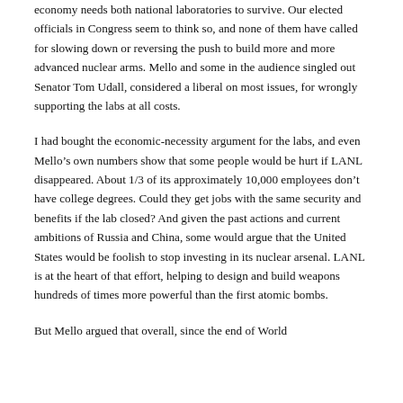economy needs both national laboratories to survive. Our elected officials in Congress seem to think so, and none of them have called for slowing down or reversing the push to build more and more advanced nuclear arms. Mello and some in the audience singled out Senator Tom Udall, considered a liberal on most issues, for wrongly supporting the labs at all costs.
I had bought the economic-necessity argument for the labs, and even Mello’s own numbers show that some people would be hurt if LANL disappeared. About 1/3 of its approximately 10,000 employees don’t have college degrees. Could they get jobs with the same security and benefits if the lab closed? And given the past actions and current ambitions of Russia and China, some would argue that the United States would be foolish to stop investing in its nuclear arsenal. LANL is at the heart of that effort, helping to design and build weapons hundreds of times more powerful than the first atomic bombs.
But Mello argued that overall, since the end of World